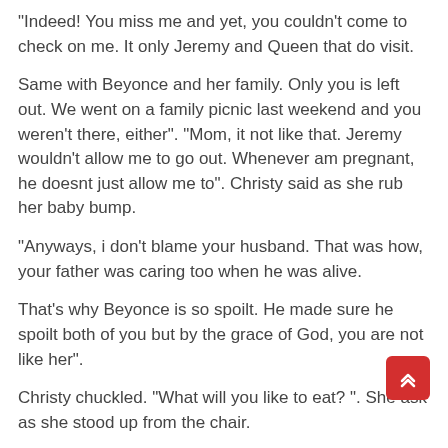"Indeed! You miss me and yet, you couldn't come to check on me. It only Jeremy and Queen that do visit.
Same with Beyonce and her family. Only you is left out. We went on a family picnic last weekend and you weren't there, either". "Mom, it not like that. Jeremy wouldn't allow me to go out. Whenever am pregnant, he doesnt just allow me to". Christy said as she rub her baby bump.
"Anyways, i don't blame your husband. That was how, your father was caring too when he was alive.
That's why Beyonce is so spoilt. He made sure he spoilt both of you but by the grace of God, you are not like her".
Christy chuckled. "What will you like to eat? ". She ask as she stood up from the chair.
"Anything at all, just get into the kitchen and prepare something for me and my grand daughter, i guess she'll soon be back". Mrs